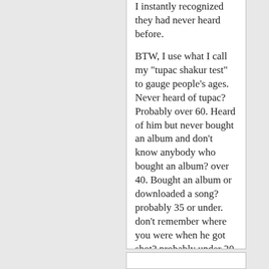I instantly recognized they had never heard before.

BTW, I use what I call my "tupac shakur test" to gauge people's ages. Never heard of tupac? Probably over 60. Heard of him but never bought an album and don't know anybody who bought an album? over 40. Bought an album or downloaded a song? probably 35 or under. don't remember where you were when he got shot? probably under 20.